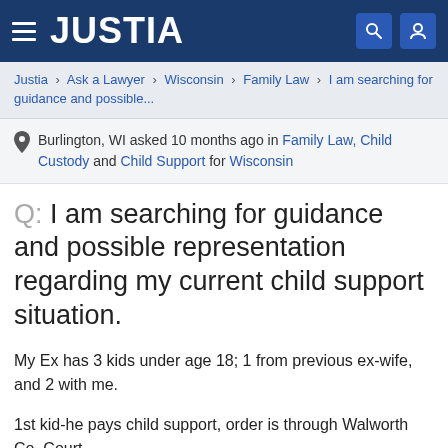JUSTIA
Justia › Ask a Lawyer › Wisconsin › Family Law › I am searching for guidance and possible...
Burlington, WI asked 10 months ago in Family Law, Child Custody and Child Support for Wisconsin
Q: I am searching for guidance and possible representation regarding my current child support situation.
My Ex has 3 kids under age 18; 1 from previous ex-wife, and 2 with me.
1st kid-he pays child support, order is through Walworth Co. Court.